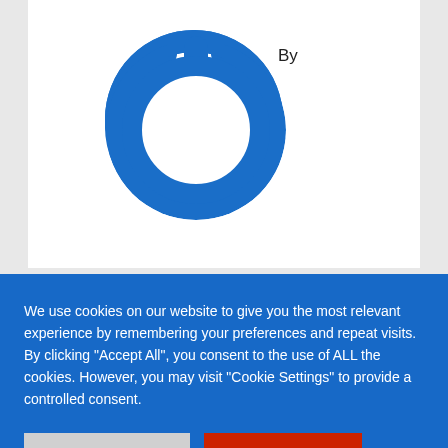[Figure (logo): Blue circular power button icon/logo]
By
RELATED POST
[Figure (photo): Partial view of an outdoor scene with buildings and green grass against a blue sky]
We use cookies on our website to give you the most relevant experience by remembering your preferences and repeat visits. By clicking “Accept All”, you consent to the use of ALL the cookies. However, you may visit "Cookie Settings" to provide a controlled consent.
Cookie Settings
Accept All